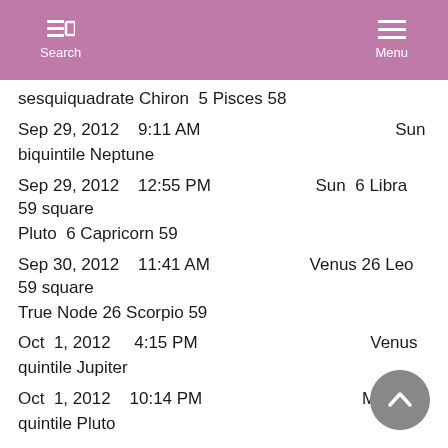Search  Menu
sesquiquadrate Chiron  5 Pisces 58
Sep 29, 2012    9:11 AM                             Sun biquintile Neptune
Sep 29, 2012    12:55 PM             Sun  6 Libra 59 square Pluto  6 Capricorn 59
Sep 30, 2012    11:41 AM             Venus 26 Leo 59 square True Node 26 Scorpio 59
Oct  1, 2012     4:15 PM                             Venus quintile Jupiter
Oct  1, 2012    10:14 PM                             Mercury quintile Pluto
Oct  2, 2012    10:06 AM             Mars 26 Scorpio 49 conjunction  True Node 26 Scorpio 49
Oct  2, 2012     7:05 PM             Venus 29 Leo 40 sextile